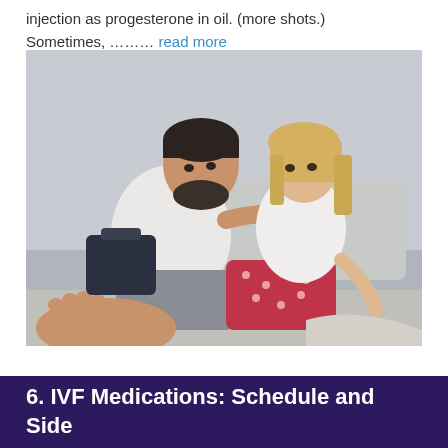injection as progesterone in oil. (more shots.) Sometimes, ……… read more
[Figure (photo): A man and woman sitting together on a couch or bed, looking at each other with serious expressions. The man has dark hair and a beard, wearing a white t-shirt. The woman has blonde hair, wearing a white shirt and patterned red/pink pants. They appear to be having a serious conversation.]
6. IVF Medications: Schedule and Side